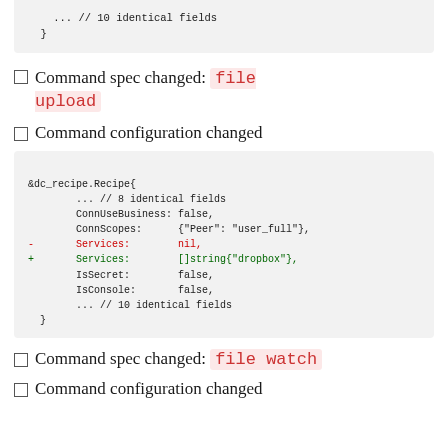[Figure (screenshot): Code block showing '... // 10 identical fields' and closing brace]
Command spec changed:  file upload
Command configuration changed
[Figure (screenshot): Code diff block showing &dc_recipe.Recipe{ with fields ConnUseBusiness, ConnScopes, Services (removed nil, added []string{"dropbox"}), IsSecret, IsConsole, and comments about identical fields]
Command spec changed:  file watch
Command configuration changed